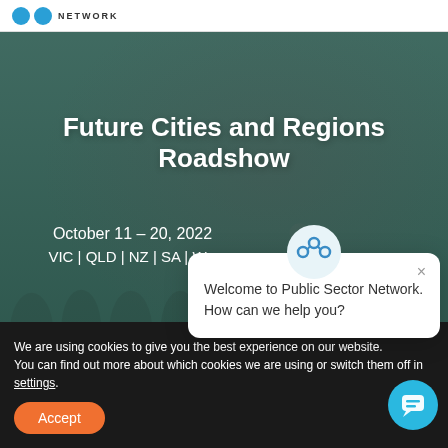PUBLIC SECTOR NETWORK
[Figure (photo): Background photo of a conference/seminar audience with a presenter at the front, overlaid with dark teal/green tint]
Future Cities and Regions Roadshow
October 11 – 20, 2022
VIC | QLD | NZ | SA | WA
We are using cookies to give you the best experience on our website.
You can find out more about which cookies we are using or switch them off in settings.
Accept
Welcome to Public Sector Network. How can we help you?